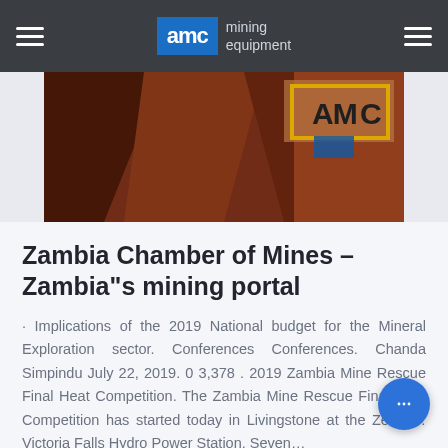AMC mining equipment
[Figure (photo): Partial photo of mining equipment in brown/red tones with AMC logo visible on yellow background, cropped at top]
Zambia Chamber of Mines – Zambia"s mining portal
· Implications of the 2019 National budget for the Mineral Exploration sector. Conferences Conferences. Chanda Simpindu July 22, 2019. 0 3,378 . 2019 Zambia Mine Rescue Final Heat Competition. The Zambia Mine Rescue Final Heat Competition has started today in Livingstone at the Zesco… Victoria Falls Hydro Power Station. Seven…